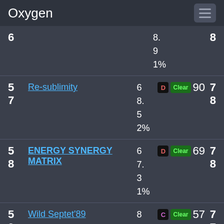Oxygen
| # | Name | Score | Badge | Clear | Num | Rank |
| --- | --- | --- | --- | --- | --- | --- |
| 6 |  | 8.
9
1% |  |  | 8 |
| 5
7 | Re-sublimity | 6
8.
5
2% | D | Clear 90 | 7
8 |
| 5
8 | ENERGY SYNERGY MATRIX | 6
7.
3
1% | D | Clear 69 | 7
8 |
| 5
9 | Wild Septet'89 | 8
5.
7 | C | Clear 57 | 7
7 |